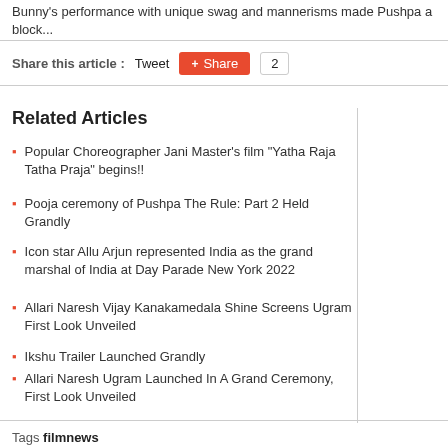Bunny's performance with unique swag and mannerisms made Pushpa a block...
Share this article : Tweet Share 2
Related Articles
Popular Choreographer Jani Master's film "Yatha Raja Tatha Praja" begins!!
Pooja ceremony of Pushpa The Rule: Part 2 Held Grandly
Icon star Allu Arjun represented India as the grand marshal of India at Day Parade New York 2022
Allari Naresh Vijay Kanakamedala Shine Screens Ugram First Look Unveiled
Ikshu Trailer Launched Grandly
Allari Naresh Ugram Launched In A Grand Ceremony, First Look Unveiled
Tags filmnews